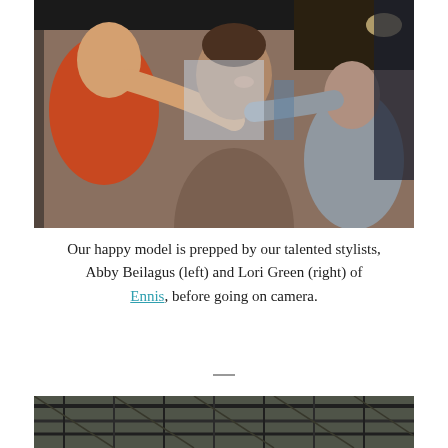[Figure (photo): A smiling woman in the center being attended to by two stylists — one in orange on the left adjusting her hair/clothing, and one in grey on the right touching her hair. The setting appears to be an indoor studio or dressing area.]
Our happy model is prepped by our talented stylists, Abby Beilagus (left) and Lori Green (right) of Ennis, before going on camera.
[Figure (photo): Partial view of a second photo showing what appears to be a ceiling or structural framework with beams/bars, at the bottom of the page.]